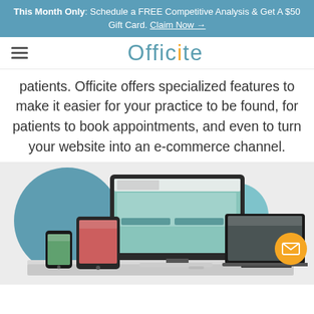This Month Only: Schedule a FREE Competitive Analysis & Get A $50 Gift Card. Claim Now →
[Figure (screenshot): Officite logo with hamburger menu icon on the left; logo text in teal/grey with orange dot on the 'i']
patients. Officite offers specialized features to make it easier for your practice to be found, for patients to book appointments, and even to turn your website into an e-commerce channel.
[Figure (illustration): Responsive web design mockup showing a dental/healthcare website displayed on desktop monitor, laptop, tablet, and mobile phone devices arranged on a white desk surface, with teal decorative circles in the background. An orange email button is visible in the lower right.]